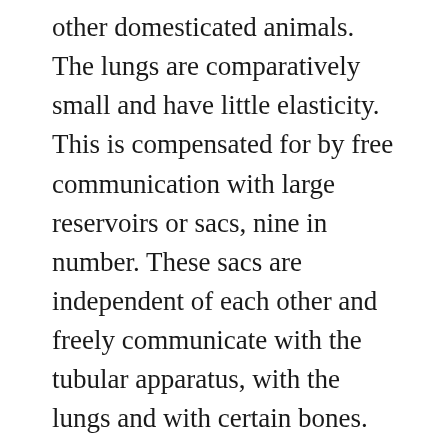other domesticated animals. The lungs are comparatively small and have little elasticity. This is compensated for by free communication with large reservoirs or sacs, nine in number. These sacs are independent of each other and freely communicate with the tubular apparatus, with the lungs and with certain bones. The air sacs serve to feed air to the lungs between periods of inspiration. Some oxygenation of the blood may take place through the walls of the sacs as well as in the lungs. The air sacs also serve to diminish the weight of the body and to render equilibrium more stable.